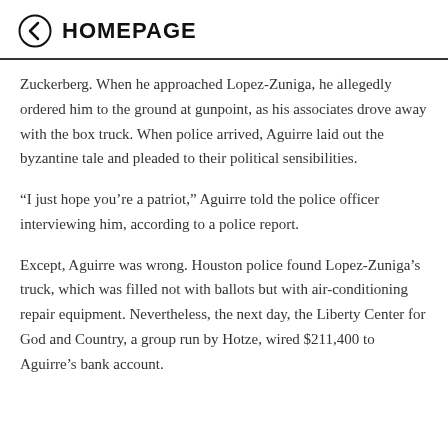HOMEPAGE
Zuckerberg. When he approached Lopez-Zuniga, he allegedly ordered him to the ground at gunpoint, as his associates drove away with the box truck. When police arrived, Aguirre laid out the byzantine tale and pleaded to their political sensibilities.
“I just hope you’re a patriot,” Aguirre told the police officer interviewing him, according to a police report.
Except, Aguirre was wrong. Houston police found Lopez-Zuniga’s truck, which was filled not with ballots but with air-conditioning repair equipment. Nevertheless, the next day, the Liberty Center for God and Country, a group run by Hotze, wired $211,400 to Aguirre’s bank account.